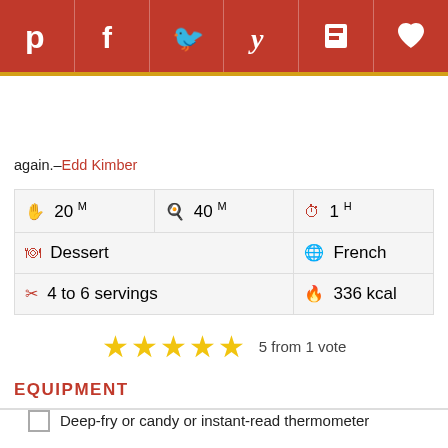Social share icons: Pinterest, Facebook, Twitter, Yummly, Flipboard, Save
again. –Edd Kimber
| Prep | Cook | Total | Course | Cuisine | Servings | Calories |
| --- | --- | --- | --- | --- | --- | --- |
| 20 M | 40 M | 1 H |
| Dessert | French |
| 4 to 6 servings | 336 kcal |
5 from 1 vote
EQUIPMENT
Deep-fry or candy or instant-read thermometer
INGREDIENTS
For the caramel